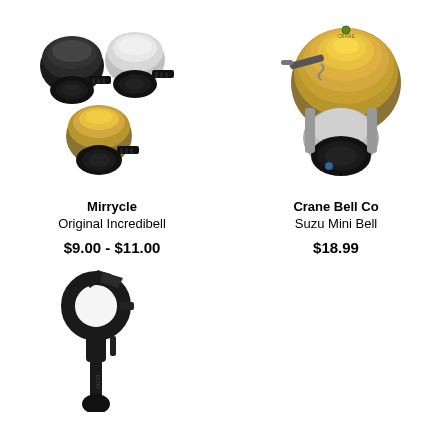[Figure (photo): Three small bicycle bells in black, silver/white, and gold/brass colors with black rubber handlebar mounts - Mirrycle Original Incredibell]
Mirrycle
Original Incredibell
$9.00 - $11.00
[Figure (photo): Gold and chrome Crane Bell Co Suzu Mini Bell with lever striker and black handlebar clamp mount]
Crane Bell Co
Suzu Mini Bell
$18.99
[Figure (photo): Black bicycle bell mount/holder accessory with ring clamp and stem, partially visible at bottom of page]